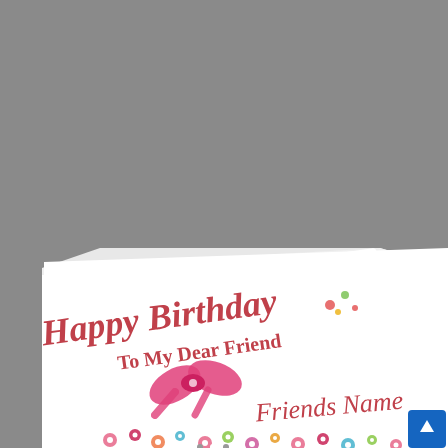[Figure (photo): A handmade birthday card photographed at an angle against a gray background. The white card features script and serif text reading 'Happy Birthday' in large cursive pink lettering at the top, followed by 'To My Dear Friend' in smaller bold serif pink text. A decorative pink ribbon bow with rhinestone accents is attached to the center-left of the card. The lower right area features 'Friends Name' written in pink cursive script. The bottom of the card is decorated with a garland of small colorful paper flowers (pink, red, teal, yellow, green) with rhinestone centers. Small decorative flower embellishments also appear near the top right of the text.]